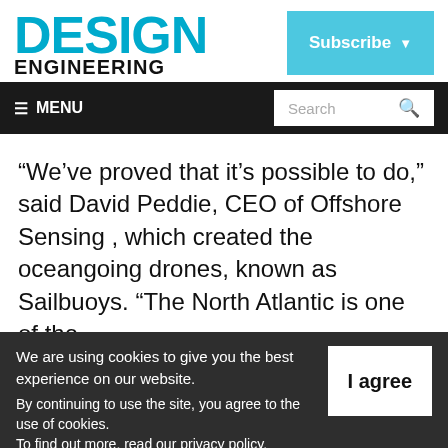DESIGN ENGINEERING
Subscribe
≡ MENU  Search
“We’ve proved that it’s possible to do,” said David Peddie, CEO of Offshore Sensing , which created the oceangoing drones, known as Sailbuoys. “The North Atlantic is one of the
We are using cookies to give you the best experience on our website.
By continuing to use the site, you agree to the use of cookies.
To find out more, read our privacy policy.
I agree